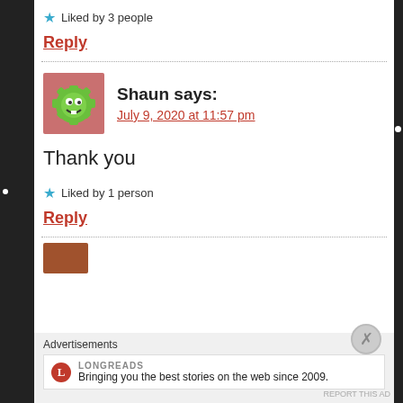★ Liked by 3 people
Reply
Shaun says:
July 9, 2020 at 11:57 pm
Thank you
★ Liked by 1 person
Reply
Advertisements
Bringing you the best stories on the web since 2009.